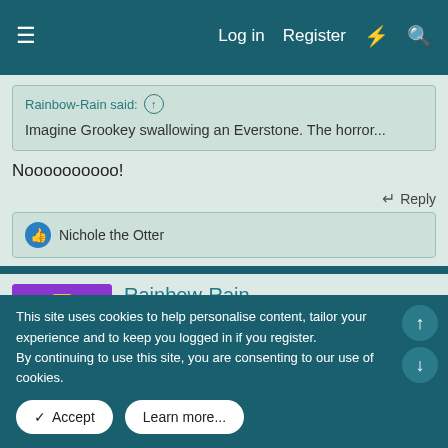Log in  Register
Rainbow-Rain said: ↑
Imagine Grookey swallowing an Everstone. The horror...
Noooooooooo!
↩ Reply
👍 Nichole the Otter
Rainbow-Rain
LEADER OF THE INTELEON DEFENSE SQUAD
[Figure (illustration): Pixel art avatar of a Pokemon character on purple background]
[Figure (illustration): Sobble Fan badge - blue pixel art badge]
[Figure (illustration): Sprigatito Fan badge - green pixel art badge]
This site uses cookies to help personalise content, tailor your experience and to keep you logged in if you register.
By continuing to use this site, you are consenting to our use of cookies.
✓ Accept
Learn more...